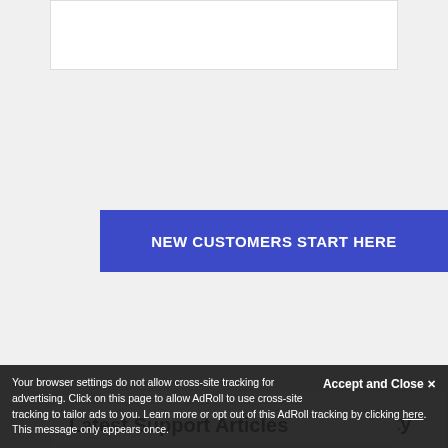[Figure (other): White box at top of page, partially visible]
NEW CUSTOMERS START HERE
InMotion Hosting Community
Need help? Ask a question, share a helpful tip, or help others in our community forum.
Ask a Question
Latest Support Articles
Your browser settings do not allow cross-site tracking for advertising. Click on this page to allow AdRoll to use cross-site tracking to tailor ads to you. Learn more or opt out of this AdRoll tracking by clicking here. This message only appears once.